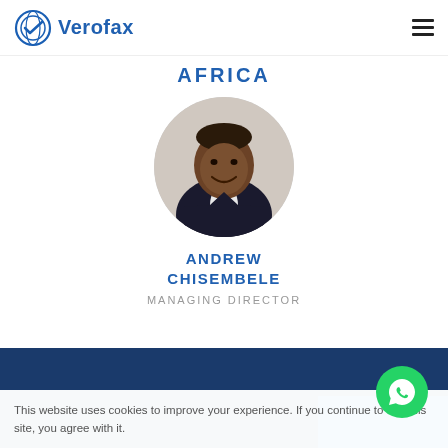[Figure (logo): Verofax logo: circular blue checkmark/globe icon with text 'Verofax' in blue]
AFRICA
[Figure (photo): Headshot of Andrew Chisembele, a man in a dark suit with a light pink tie, smiling, in a circular crop]
ANDREW CHISEMBELE
MANAGING DIRECTOR
This website uses cookies to improve your experience. If you continue to use this site, you agree with it.